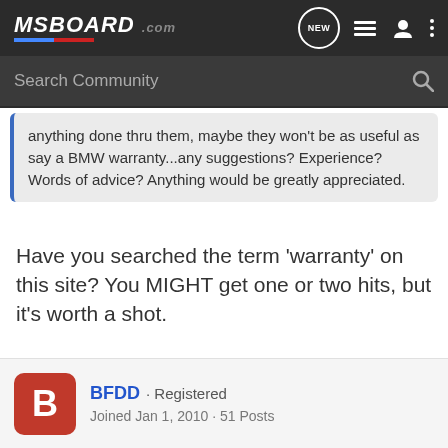M5BOARD.com — Search Community
anything done thru them, maybe they won't be as useful as say a BMW warranty...any suggestions? Experience? Words of advice? Anything would be greatly appreciated.
Have you searched the term 'warranty' on this site? You MIGHT get one or two hits, but it's worth a shot.
2008 Black Sapphire M5 6MT
BFDD · Registered
Joined Jan 1, 2010 · 51 Posts